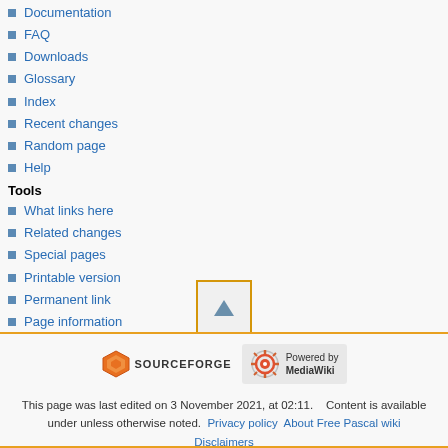Documentation
FAQ
Downloads
Glossary
Index
Recent changes
Random page
Help
Tools
What links here
Related changes
Special pages
Printable version
Permanent link
Page information
[Figure (other): Scroll to top button with upward triangle arrow, bordered in orange/yellow]
[Figure (logo): SourceForge logo and MediaWiki Powered by logo]
This page was last edited on 3 November 2021, at 02:11.    Content is available under unless otherwise noted.  Privacy policy  About Free Pascal wiki  Disclaimers